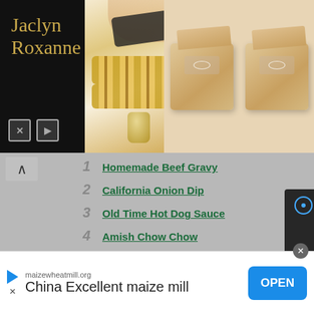[Figure (photo): Advertisement banner with jewelry - left panel shows cursive 'Jaclyn Roxanne' script in gold on dark background with mute/play icons; center panel shows gold chain necklace and perfume bottle on light background; right panel shows two beige ring boxes with diamond rings]
1 Homemade Beef Gravy
2 California Onion Dip
3 Old Time Hot Dog Sauce
4 Amish Chow Chow
5 Pushcart Onion Sauce
6 Back-to-Basics Brown Gravy
7 Homemade Sauces, Gravies, BBQ Sauces, and More
[Figure (screenshot): Video popup overlay showing Mr. Food test kitchen logo with play button, on dark semi-transparent background with close X button and mute button]
[Figure (other): Bottom advertisement for maizewheatmill.org - China Excellent maize mill with OPEN button]